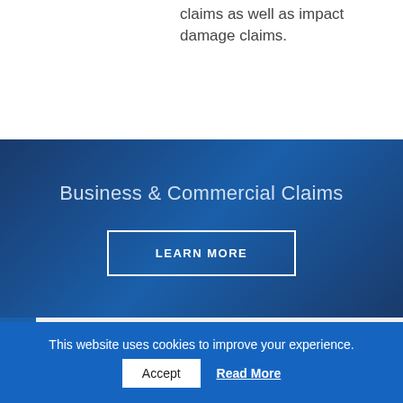claims as well as impact damage claims.
Business & Commercial Claims
LEARN MORE
We cover all of Colwyn Bay and
This website uses cookies to improve your experience.
Accept
Read More